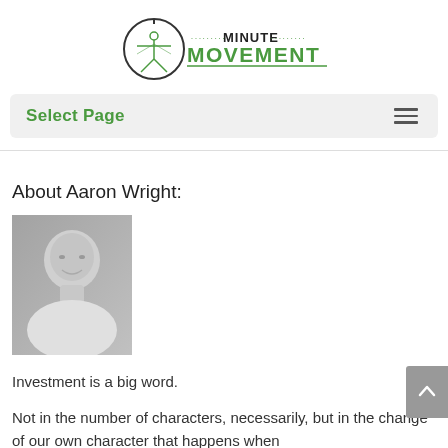[Figure (logo): Minute Movement logo with Vitruvian man figure inside a clock circle and 'MINUTE MOVEMENT' text in green]
Select Page
[Figure (photo): Black and white headshot photo of Aaron Wright, a bald smiling man in a collared shirt]
About Aaron Wright:
Investment is a big word.
Not in the number of characters, necessarily, but in the change of our own character that happens when